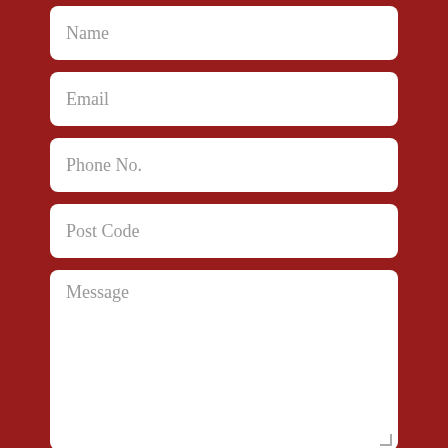Name
Email
Phone No.
Post Code
Message